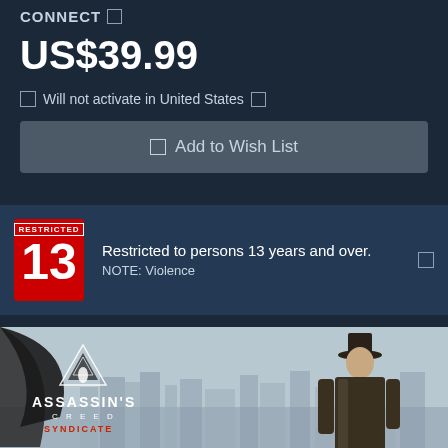CONNECT
US$39.99
⚠ Will not activate in United States
🔖 Add to Wish List
Restricted to persons 13 years and over. NOTE: Violence
[Figure (screenshot): Assassin's Creed Syndicate game banner showing the AC logo with character in Victorian-era London setting]